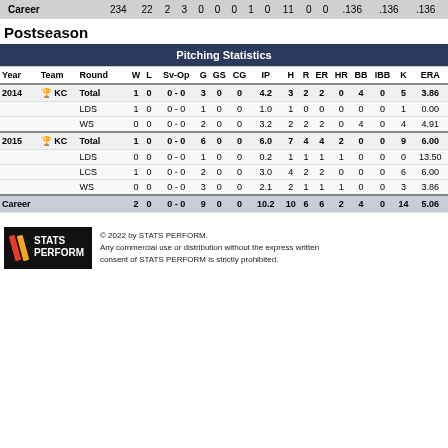| Career | 234 | 22 | 2 | 3 | 0 | 0 | 0 | 1 | 0 | 11 | 0 | 0 | .136 | .136 | .136 |
| --- | --- | --- | --- | --- | --- | --- | --- | --- | --- | --- | --- | --- | --- | --- | --- |
Postseason
| Year | Team | Round | W | L | Sv-Op | G | GS | CG | IP | H | R | ER | HR | BB | IBB | K | ERA |
| --- | --- | --- | --- | --- | --- | --- | --- | --- | --- | --- | --- | --- | --- | --- | --- | --- | --- |
| 2014 | KC | Total | 1 | 0 | 0 - 0 | 3 | 0 | 0 | 4.2 | 3 | 2 | 2 | 0 | 4 | 0 | 5 | 3.86 |
|  |  | LDS | 1 | 0 | 0 - 0 | 1 | 0 | 0 | 1.0 | 1 | 0 | 0 | 0 | 0 | 0 | 1 | 0.00 |
|  |  | WS | 0 | 0 | 0 - 0 | 2 | 0 | 0 | 3.2 | 2 | 2 | 2 | 0 | 4 | 0 | 4 | 4.91 |
| 2015 | KC | Total | 1 | 0 | 0 - 0 | 6 | 0 | 0 | 6.0 | 7 | 4 | 4 | 2 | 0 | 0 | 9 | 6.00 |
|  |  | LDS | 0 | 0 | 0 - 0 | 1 | 0 | 0 | 0.2 | 1 | 1 | 1 | 1 | 0 | 0 | 0 | 13.50 |
|  |  | LCS | 1 | 0 | 0 - 0 | 2 | 0 | 0 | 3.0 | 4 | 2 | 2 | 0 | 0 | 0 | 6 | 6.00 |
|  |  | WS | 0 | 0 | 0 - 0 | 3 | 0 | 0 | 2.1 | 2 | 1 | 1 | 1 | 0 | 0 | 3 | 3.86 |
| Career |  |  | 2 | 0 | 0 - 0 | 9 | 0 | 0 | 10.2 | 10 | 6 | 6 | 2 | 4 | 0 | 14 | 5.06 |
© 2022 by STATS PERFORM. Any commercial use or distribution without the express written consent of STATS PERFORM is strictly prohibited.